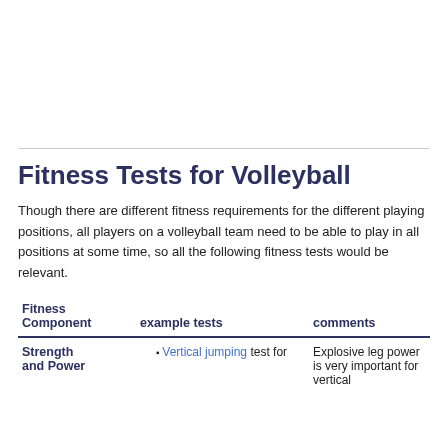Fitness Tests for Volleyball
Though there are different fitness requirements for the different playing positions, all players on a volleyball team need to be able to play in all positions at some time, so all the following fitness tests would be relevant.
| Fitness Component | example tests | comments |
| --- | --- | --- |
| Strength and Power | Vertical jumping test for | Explosive leg power is very important for vertical |